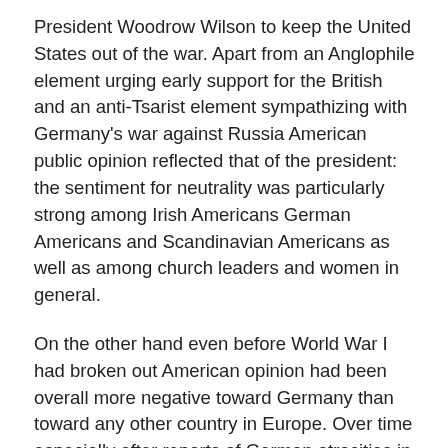President Woodrow Wilson to keep the United States out of the war. Apart from an Anglophile element urging early support for the British and an anti-Tsarist element sympathizing with Germany's war against Russia American public opinion reflected that of the president: the sentiment for neutrality was particularly strong among Irish Americans German Americans and Scandinavian Americans as well as among church leaders and women in general.
On the other hand even before World War I had broken out American opinion had been overall more negative toward Germany than toward any other country in Europe. Over time especially after reports of German atrocities in Belgium in 1914 and following the sinking of the passenger liner RMS Lusitania in 1915 American citizens increasingly came to see Germ...
On the other hand even before World War I had b...